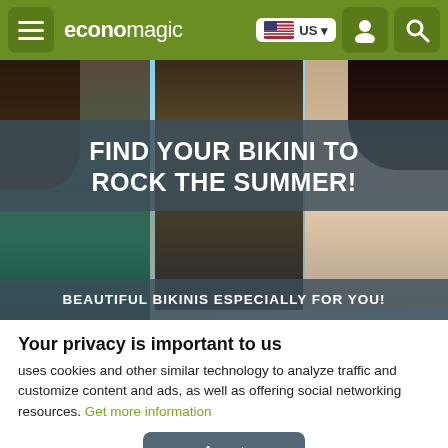economagic — US navigation header with hamburger menu, flag selector, user icon, and search icon
[Figure (photo): Hero banner showing three women in bikinis at a beach, with overlaid promotional text: FIND YOUR BIKINI TO ROCK THE SUMMER! and BEAUTIFUL BIKINIS ESPECIALLY FOR YOU!]
Your privacy is important to us
uses cookies and other similar technology to analyze traffic and customize content and ads, as well as offering social networking resources. Get more information
Acept